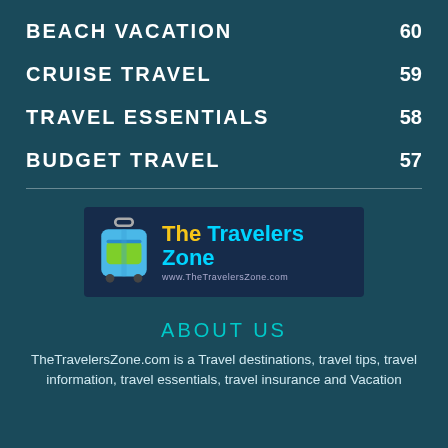BEACH VACATION  60
CRUISE TRAVEL  59
TRAVEL ESSENTIALS  58
BUDGET TRAVEL  57
[Figure (logo): The Travelers Zone logo with luggage icon and text 'The Travelers Zone' and URL www.TheTravelersZone.com]
ABOUT US
TheTravelersZone.com is a Travel destinations, travel tips, travel information, travel essentials, travel insurance and Vacation